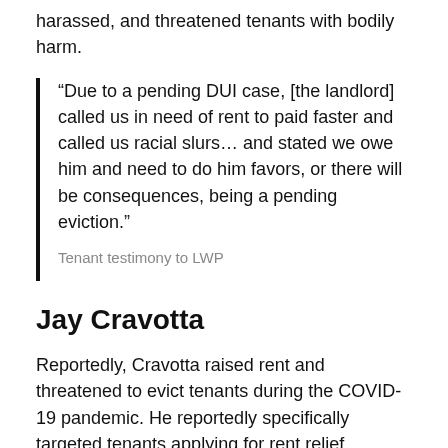harassed, and threatened tenants with bodily harm.
“Due to a pending DUI case, [the landlord] called us in need of rent to paid faster and called us racial slurs… and stated we owe him and need to do him favors, or there will be consequences, being a pending eviction.”
Tenant testimony to LWP
Jay Cravotta
Reportedly, Cravotta raised rent and threatened to evict tenants during the COVID-19 pandemic. He reportedly specifically targeted tenants applying for rent relief. According to LinkedIn, he is